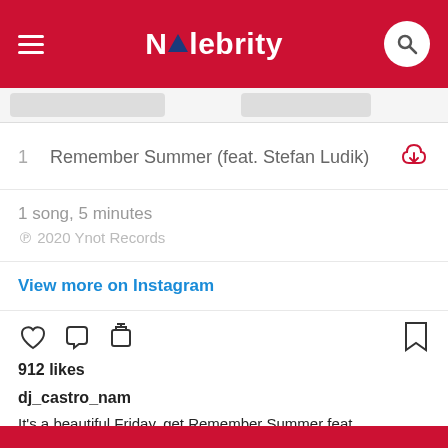NAlebrity
1  Remember Summer (feat. Stefan Ludik)
1 song, 5 minutes
℗ 2020 Ynot Records
View more on Instagram
912 likes
dj_castro_nam
It's a beautiful Friday, get Remember Summer feat. @stefanludik1981 on all different digital platforms 🎵🎵 Link in Bio 😊
view all comments